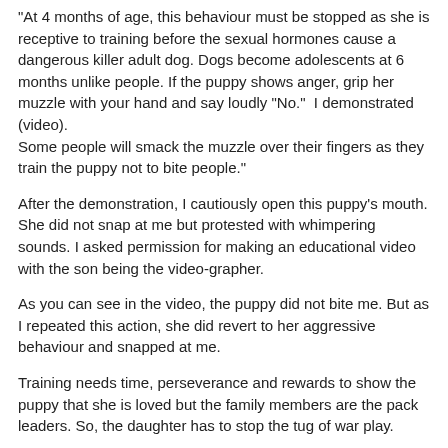"At 4 months of age, this behaviour must be stopped as she is receptive to training before the sexual hormones cause a dangerous killer adult dog. Dogs become adolescents at 6 months unlike people. If the puppy shows anger, grip her muzzle with your hand and say loudly "No."  I demonstrated (video).
Some people will smack the muzzle over their fingers as they train the puppy not to bite people."
After the demonstration, I cautiously open this puppy's mouth. She did not snap at me but protested with whimpering sounds. I asked permission for making an educational video with the son being the video-grapher.
As you can see in the video, the puppy did not bite me. But as I repeated this action, she did revert to her aggressive behaviour and snapped at me.
Training needs time, perseverance and rewards to show the puppy that she is loved but the family members are the pack leaders. So, the daughter has to stop the tug of war play.